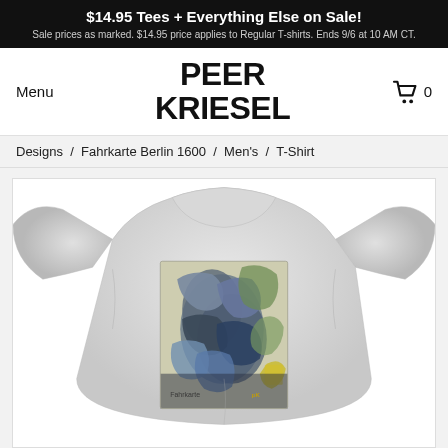$14.95 Tees + Everything Else on Sale! Sale prices as marked. $14.95 price applies to Regular T-shirts. Ends 9/6 at 10 AM CT.
PEER KRIESEL
Menu
0
Designs / Fahrkarte Berlin 1600 / Men's / T-Shirt
[Figure (photo): A light gray heather men's t-shirt displayed flat, featuring a colorful artistic graphic print on the chest. The print depicts abstract/expressionist figures in blue, green, and gray tones, appearing to be a reproduction of a painting or artwork with text at the bottom reading something like 'Fahrkarte Berlin 1600'.]